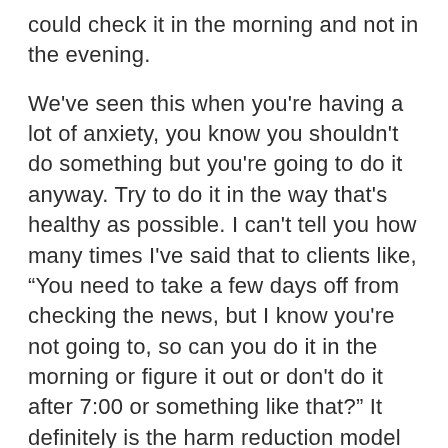could check it in the morning and not in the evening.
We've seen this when you're having a lot of anxiety, you know you shouldn't do something but you're going to do it anyway. Try to do it in the way that's healthy as possible. I can't tell you how many times I've said that to clients like, “You need to take a few days off from checking the news, but I know you're not going to, so can you do it in the morning or figure it out or don't do it after 7:00 or something like that?” It definitely is the harm reduction model for sure. Figuring out because I get that impulse. I have ADHD. I absolutely get the impulse of like, “I need to do this now. I feel it in